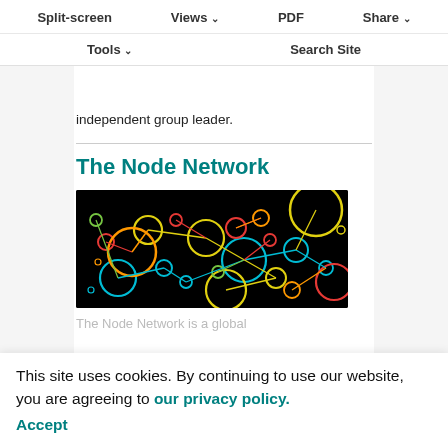Split-screen  Views  PDF  Share  Tools  Search Site
development and evolution. We interviewed Aman to find out more about his career path and the challenges of becoming an independent group leader.
The Node Network
[Figure (network-graph): Colorful network diagram on black background showing interconnected nodes of various sizes (circles) connected by lines, rendered in multiple colors: teal, yellow, red, orange, green]
The Node Network is a global
find speakers, referees, panel members and potential collaborators
This site uses cookies. By continuing to use our website, you are agreeing to our privacy policy. Accept